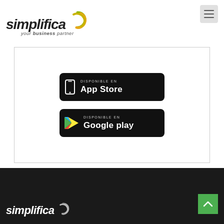[Figure (logo): Simplifica logo with swirl icon and tagline 'your business partner']
[Figure (screenshot): Card section containing App Store and Google Play download buttons with 'DISPONIBLE EN' text]
[Figure (logo): Simplifica logo in white on dark footer background, with green scroll-to-top button]